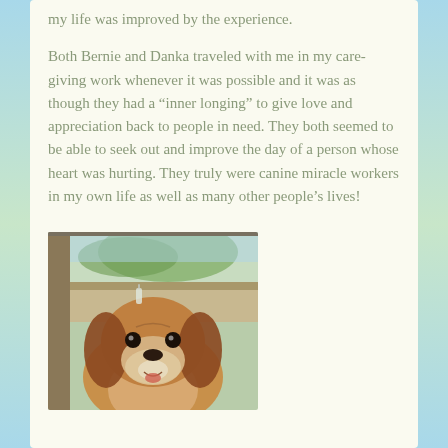my life was improved by the experience.
Both Bernie and Danka traveled with me in my care-giving work whenever it was possible and it was as though they had a “inner longing” to give love and appreciation back to people in need. They both seemed to be able to seek out and improve the day of a person whose heart was hurting. They truly were canine miracle workers in my own life as well as many other people’s lives!
[Figure (photo): A beagle dog sitting in a car, looking at the camera, with a dashboard and window visible in the background showing greenery outside.]